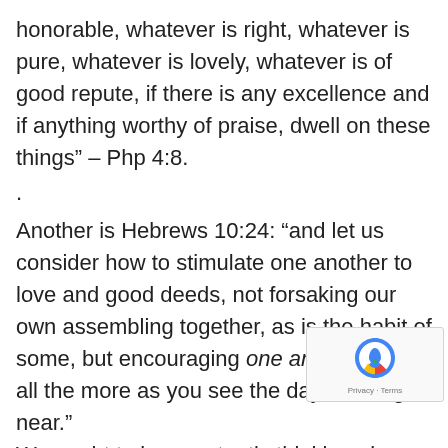honorable, whatever is right, whatever is pure, whatever is lovely, whatever is of good repute, if there is any excellence and if anything worthy of praise, dwell on these things” – Php 4:8.
.
Another is Hebrews 10:24: “and let us consider how to stimulate one another to love and good deeds, not forsaking our own assembling together, as is the habit of some, but encouraging one another; and all the more as you see the day drawing near.”
We ought to be constantly thinking abo how to encourage one another. Surely we